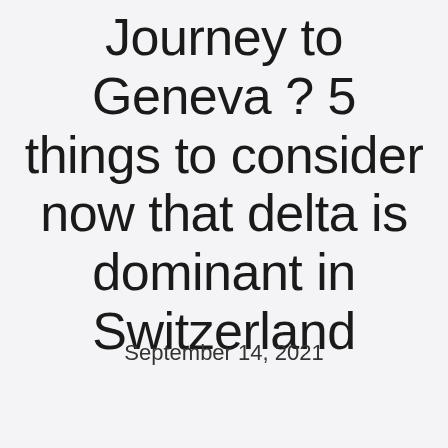Journey to Geneva ? 5 things to consider now that delta is dominant in Switzerland
September 14, 2021